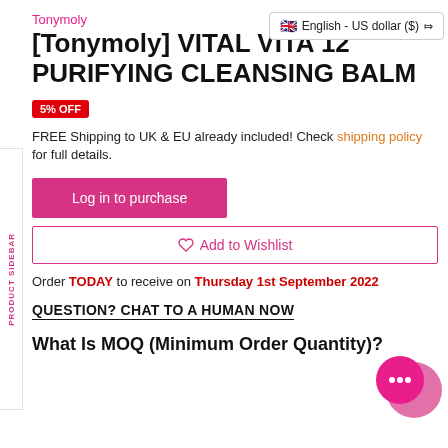Tonymoly
[Tonymoly] VITAL VITA 12 PURIFYING CLEANSING BALM
English - US dollar ($)
5% OFF
FREE Shipping to UK & EU already included! Check shipping policy for full details.
Log in to purchase
Add to Wishlist
Order TODAY to receive on Thursday 1st September 2022
QUESTION? CHAT TO A HUMAN NOW
What Is MOQ (Minimum Order Quantity)?
[Figure (illustration): Pink chat bubble icon in bottom right corner]